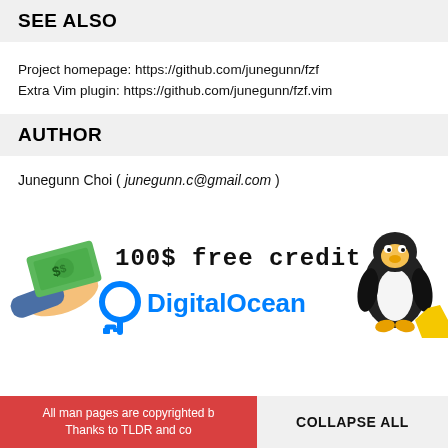SEE ALSO
Project homepage: https://github.com/junegunn/fzf
Extra Vim plugin: https://github.com/junegunn/fzf.vim
AUTHOR
Junegunn Choi ( junegunn.c@gmail.com )
[Figure (illustration): DigitalOcean advertisement banner showing '100$ free credit' text in monospace font, a Linux penguin mascot, a hand holding money, the DigitalOcean logo with swirl icon, and DigitalOcean name in blue.]
All man pages are copyrighted b... Thanks to TLDR and co...
COLLAPSE ALL